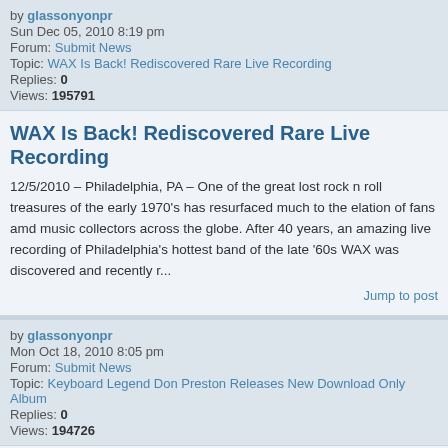by glassonyonpr
Sun Dec 05, 2010 8:19 pm
Forum: Submit News
Topic: WAX Is Back! Rediscovered Rare Live Recording
Replies: 0
Views: 195791
WAX Is Back! Rediscovered Rare Live Recording
12/5/2010 – Philadelphia, PA – One of the great lost rock n roll treasures of the early 1970's has resurfaced much to the elation of fans amd music collectors across the globe. After 40 years, an amazing live recording of Philadelphia's hottest band of the late '60s WAX was discovered and recently r...
Jump to post
by glassonyonpr
Mon Oct 18, 2010 8:05 pm
Forum: Submit News
Topic: Keyboard Legend Don Preston Releases New Download Only Album
Replies: 0
Views: 194726
Keyboard Legend Don Preston Releases New Download Only Album
Keyboard Legend Don Preston Releases New Download Only Album On Norway's Zonic Entertainment 10/18/2010 - Norway – Considered the greatest synthesizer practitioner in the world by many, original Mothers of Invention and keyboard music legend Don Preston, has released a modern masterpiece in electron...